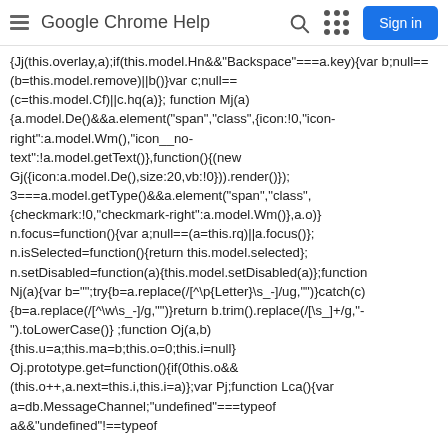Google Chrome Help
{Jj(this.overlay,a);if(this.model.Hn&&"Backspace"===a.key){var b;null==(b=this.model.remove)||b()}var c;null==(c=this.model.Cf)||c.hq(a)}; function Mj(a){a.model.De()&&a.element("span","class",{icon:!0,"icon-right":a.model.Wm(),"icon__no-text":!a.model.getText()},function(){(new Gj({icon:a.model.De(),size:20,vb:!0})).render()}); 3===a.model.getType()&&a.element("span","class",{checkmark:!0,"checkmark-right":a.model.Wm()},a.o)}n.focus=function(){var a;null==(a=this.rq)||a.focus()}; n.isSelected=function(){return this.model.selected}; n.setDisabled=function(a){this.model.setDisabled(a)};function Nj(a){var b="";try{b=a.replace(/[^\p{Letter}\s_-]/ug,"")}catch(c){b=a.replace(/[^\w\s_-]/g,"")}return b.trim().replace(/[\s_]+/g,"-").toLowerCase()} ;function Oj(a,b){this.u=a;this.ma=b;this.o=0;this.i=null}Oj.prototype.get=function(){if(0this.o&&(this.o++,a.next=this.i,this.i=a)};var Pj;function Lca(){var a=db.MessageChannel;"undefined"===typeof a&&"undefined"!==typeof